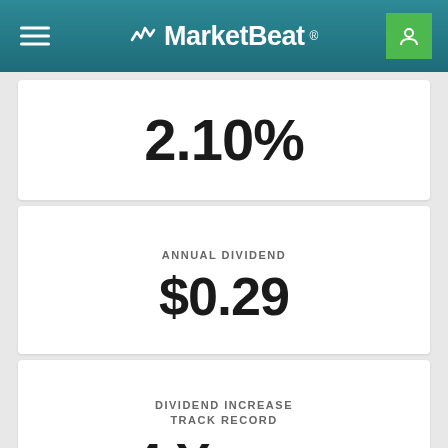MarketBeat
2.10%
ANNUAL DIVIDEND
$0.29
DIVIDEND INCREASE TRACK RECORD
4 Years